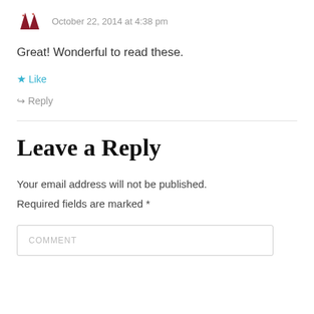October 22, 2014 at 4:38 pm
Great! Wonderful to read these.
Like
Reply
Leave a Reply
Your email address will not be published. Required fields are marked *
COMMENT